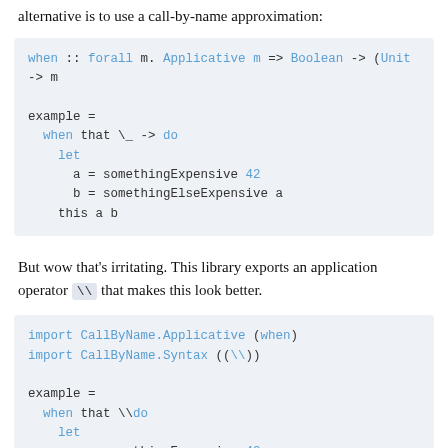alternative is to use a call-by-name approximation:
when :: forall m. Applicative m => Boolean -> (Unit -> m
example =
  when that \_ -> do
    let
      a = somethingExpensive 42
      b = somethingElseExpensive a
    this a b
But wow that's irritating. This library exports an application operator \\ that makes this look better.
import CallByName.Applicative (when)
import CallByName.Syntax ((\\))

example =
  when that \\do
    let
      a = somethingExpensive 42